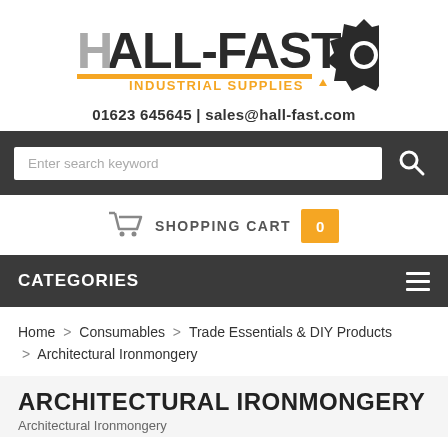[Figure (logo): Hall-Fast Industrial Supplies logo with gray and black stylized text and orange accent line with gear/cog graphic]
01623 645645 | sales@hall-fast.com
[Figure (other): Search bar with 'Enter search keyword' placeholder and search icon button on dark background]
[Figure (other): Shopping cart icon with label 'SHOPPING CART' and orange badge showing 0]
CATEGORIES
Home > Consumables > Trade Essentials & DIY Products > Architectural Ironmongery
ARCHITECTURAL IRONMONGERY
Architectural Ironmongery